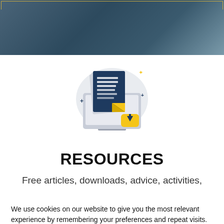[Figure (illustration): Illustration of a computer monitor with stacked documents and a yellow download icon]
RESOURCES
Free articles, downloads, advice, activities,
We use cookies on our website to give you the most relevant experience by remembering your preferences and repeat visits. By clicking “Accept”, you consent to the use of ALL the cookies.
Do not sell my personal information.